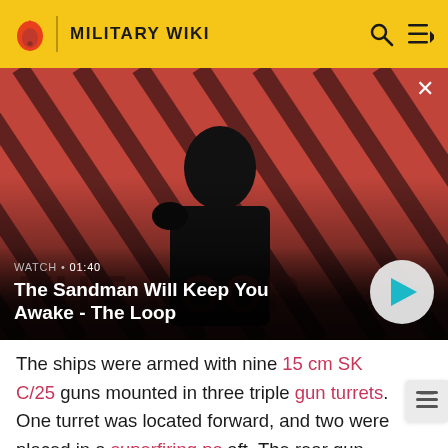MILITARY WIKI
[Figure (screenshot): Video thumbnail for 'The Sandman Will Keep You Awake - The Loop' showing a dark-cloaked figure with a raven on shoulder against a red and black diagonal striped background. Shows WATCH • 01:40 label and a play button.]
The ships were armed with nine 15 cm SK C/25 guns mounted in three triple gun turrets. One turret was located forward, and two were placed in a superfiring pa aft. The rear gun turrets were offset to increase their arc of fire. They were supplied with 1,080 rounds of